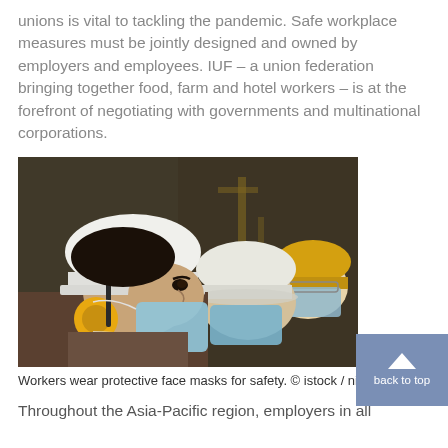unions is vital to tackling the pandemic. Safe workplace measures must be jointly designed and owned by employers and employees. IUF – a union federation bringing together food, farm and hotel workers – is at the forefront of negotiating with governments and multinational corporations.
[Figure (photo): Three construction workers wearing white and yellow hard hats and blue protective face masks, viewed from the side in an industrial setting. The worker in the foreground also wears yellow ear protection around his neck.]
Workers wear protective face masks for safety. © istock / nikom1234
Throughout the Asia-Pacific region, employers in all